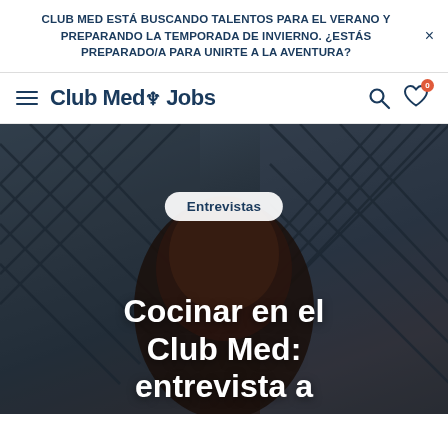CLUB MED ESTÁ BUSCANDO TALENTOS PARA EL VERANO Y PREPARANDO LA TEMPORADA DE INVIERNO. ¿ESTÁS PREPARADO/A PARA UNIRTE A LA AVENTURA?
[Figure (logo): Club Med Jobs logo with hamburger menu, search icon, and heart icon with badge '0']
[Figure (photo): Dark photo of a person's face in the foreground with wicker/lattice basket structures in the background. An 'Entrevistas' category badge is overlaid on the image. The title 'Cocinar en el Club Med: entrevista a' is displayed in white bold text at the bottom.]
Cocinar en el Club Med: entrevista a